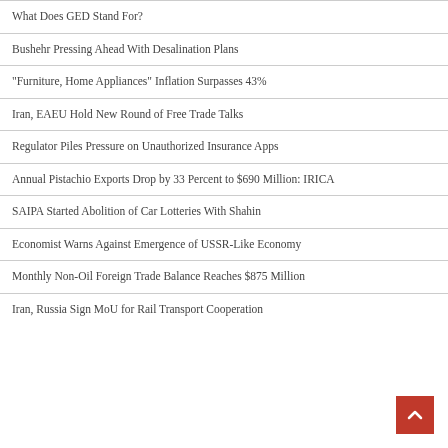What Does GED Stand For?
Bushehr Pressing Ahead With Desalination Plans
“Furniture, Home Appliances” Inflation Surpasses 43%
Iran, EAEU Hold New Round of Free Trade Talks
Regulator Piles Pressure on Unauthorized Insurance Apps
Annual Pistachio Exports Drop by 33 Percent to $690 Million: IRICA
SAIPA Started Abolition of Car Lotteries With Shahin
Economist Warns Against Emergence of USSR-Like Economy
Monthly Non-Oil Foreign Trade Balance Reaches $875 Million
Iran, Russia Sign MoU for Rail Transport Cooperation